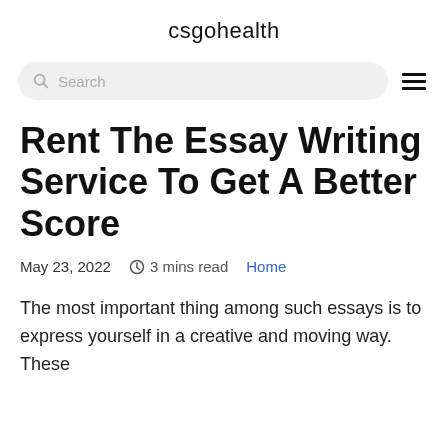csgohealth
Rent The Essay Writing Service To Get A Better Score
May 23, 2022    3 mins read    Home
The most important thing among such essays is to express yourself in a creative and moving way. These